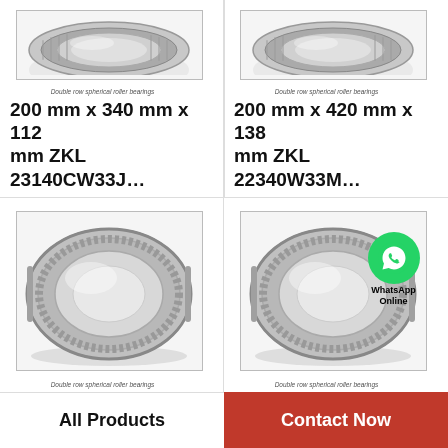[Figure (photo): Double row spherical roller bearing photo (cropped top), product 200mm x 340mm x 112mm ZKL 23140CW33J]
Double row spherical roller bearings
200 mm x 340 mm x 112 mm ZKL 23140CW33J...
[Figure (photo): Double row spherical roller bearing photo (cropped top), product 200mm x 420mm x 138mm ZKL 22340W33M]
Double row spherical roller bearings
200 mm x 420 mm x 138 mm ZKL 22340W33M...
[Figure (photo): Double row spherical roller bearing photo, product 200mm x 340mm x 140mm ZKL 24140EW33M]
Double row spherical roller bearings
200 mm x 340 mm x 140 mm ZKL 24140EW33M...
[Figure (photo): Double row spherical roller bearing photo with WhatsApp Online overlay, product 200mm x 340mm x 112mm ZKL 23140EW33M]
Double row spherical roller bearings
200 mm x 340 mm x 112 mm ZKL 23140EW33M...
All Products
Contact Now